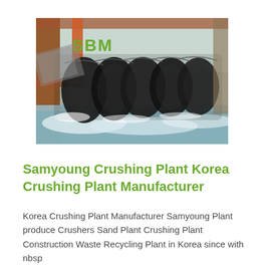[Figure (photo): Industrial screw conveyor/spiral classifier with black spiral blades in water, with orange/red metal frame structure in background. Water and material being processed.]
Samyoung Crushing Plant Korea Crushing Plant Manufacturer
Korea Crushing Plant Manufacturer Samyoung Plant produce Crushers Sand Plant Crushing Plant Construction Waste Recycling Plant in Korea since with nbsp